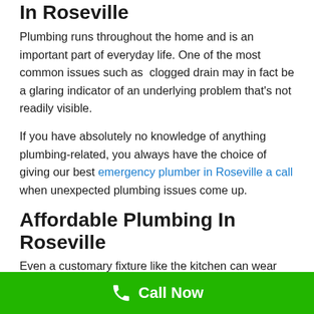In Roseville
Plumbing runs throughout the home and is an important part of everyday life. One of the most common issues such as clogged drain may in fact be a glaring indicator of an underlying problem that’s not readily visible.
If you have absolutely no knowledge of anything plumbing-related, you always have the choice of giving our best emergency plumber in Roseville a call when unexpected plumbing issues come up.
Affordable Plumbing In Roseville
Even a customary fixture like the kitchen can wear out in time due to its parts that may have degenerated resulting in breakage, or leakage. These will ultimately
Call Now